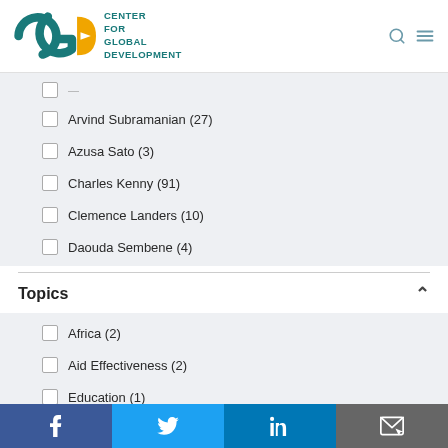[Figure (logo): Center for Global Development (CGD) logo with teal letters and orange arrow]
Arvind Subramanian (27)
Azusa Sato (3)
Charles Kenny (91)
Clemence Landers (10)
Daouda Sembene (4)
Topics
Africa (2)
Aid Effectiveness (2)
Education (1)
Financial Inclusion and Regulation (1)
Gender Equality and Inclusion (43)
Global Health (1)
f  Twitter  in  Email